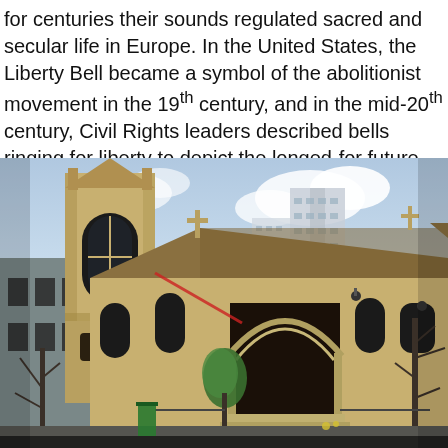for centuries their sounds regulated sacred and secular life in Europe. In the United States, the Liberty Bell became a symbol of the abolitionist movement in the 19th century, and in the mid-20th century, Civil Rights leaders described bells ringing for liberty to depict the longed-for future.
[Figure (photo): Exterior photograph of a Gothic-style stone church with a bell tower on the left, an arched entrance portal in the center, a cross at the roofline, and modern high-rise buildings visible in the background. Bare trees are in the foreground. The building is made of light tan limestone.]